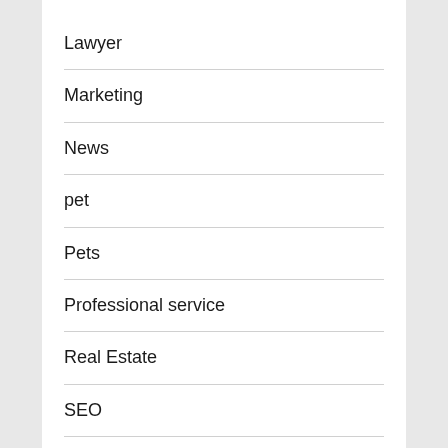Lawyer
Marketing
News
pet
Pets
Professional service
Real Estate
SEO
Shopping
Social Media